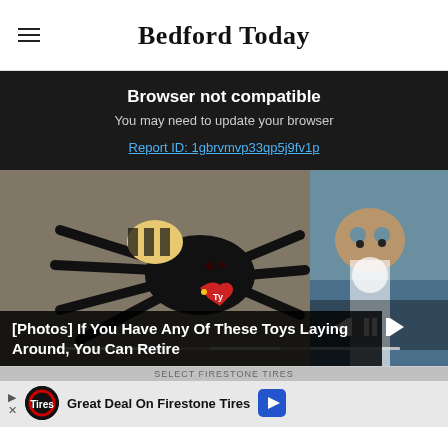Bedford Today
Browser not compatible
You may need to update your browser
Report ID: 1gbrvmvp33qp5j9fv1p
[Figure (photo): Slideshow of vintage toys including a Ty Beanie Baby spider and a blue stuffed animal, with media playback controls visible]
[Photos] If You Have Any Of These Toys Laying Around, You Can Retire
[Figure (infographic): Advertisement for Firestone Tires with logo, text 'Great Deal On Firestone Tires' and an arrow icon]